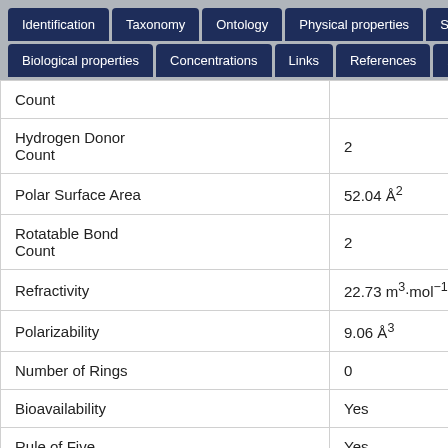Identification | Taxonomy | Ontology | Physical properties | Spectra | Biological properties | Concentrations | Links | References | XML
| Property | Value |  |
| --- | --- | --- |
| Count |  | Che |
| Hydrogen Donor Count | 2 | Che |
| Polar Surface Area | 52.04 Å² | Che |
| Rotatable Bond Count | 2 | Che |
| Refractivity | 22.73 m³·mol⁻¹ | Che |
| Polarizability | 9.06 Å³ | Che |
| Number of Rings | 0 | Che |
| Bioavailability | Yes | Che |
| Rule of Five | Yes | Che |